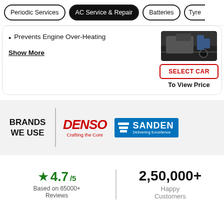Periodic Services | AC Service & Repair | Batteries | Tyres
Prevents Engine Over-Heating
Show More
[Figure (photo): A mechanic working under a car hood, dark background]
SELECT CAR
To View Price
BRANDS WE USE
[Figure (logo): DENSO logo - red italic text with tagline 'Crafting the Core']
[Figure (logo): SANDEN logo - white text on blue background with tagline 'Delivering Excellence']
★ 4.7/5
Based on 65000+ Reviews
2,50,000+
Happy Customers